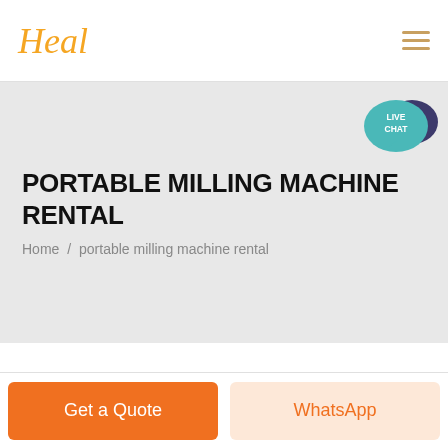Heal
[Figure (logo): Heal logo in italic orange script font, with hamburger menu icon (three horizontal orange lines) on the right]
[Figure (infographic): Live chat speech bubble icon in teal/blue with white text reading LIVE CHAT]
PORTABLE MILLING MACHINE RENTAL
Home / portable milling machine rental
Get a Quote
WhatsApp